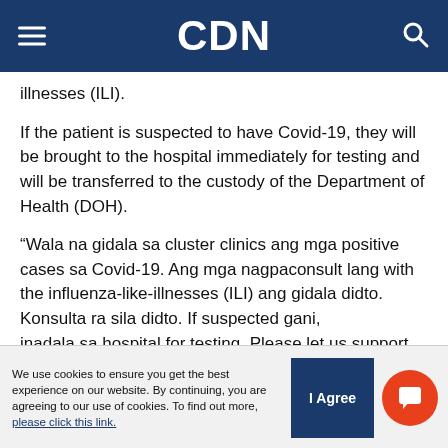CDN
illnesses (ILI).
If the patient is suspected to have Covid-19, they will be brought to the hospital immediately for testing and will be transferred to the custody of the Department of Health (DOH).
“Wala na gidala sa cluster clinics ang mga positive cases sa Covid-19. Ang mga nagpaconsult lang with the influenza-like-illnesses (ILI) ang gidala didto. Konsulta ra sila didto. If suspected gani, inadala sa hospital for testing. Please let us support
We use cookies to ensure you get the best experience on our website. By continuing, you are agreeing to our use of cookies. To find out more, please click this link.